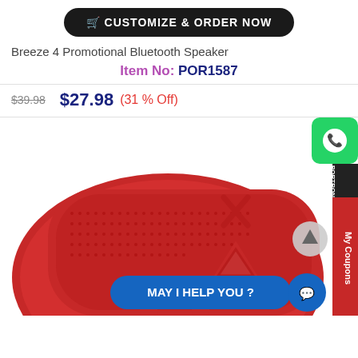CUSTOMIZE & ORDER NOW
Breeze 4 Promotional Bluetooth Speaker
Item No: POR1587
$39.98   $27.98 (31 % Off)
[Figure (photo): Red Breeze 4 Promotional Bluetooth Speaker product photo with X and triangle symbols on the speaker body. UI overlays include a WhatsApp button, Portronics side tab, chat bubble saying 'MAY I HELP YOU?', and a scroll-up button.]